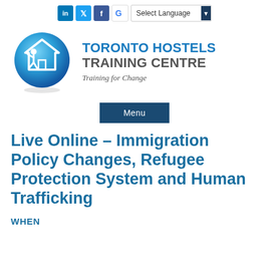in | Twitter | Facebook | G | Select Language
[Figure (logo): Toronto Hostels Training Centre logo: blue circle with white house and person silhouette icon, with text 'TORONTO HOSTELS TRAINING CENTRE' and tagline 'Training for Change']
Menu
Live Online – Immigration Policy Changes, Refugee Protection System and Human Trafficking
WHEN